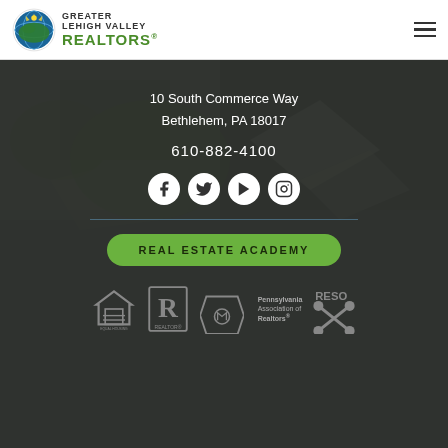[Figure (logo): Greater Lehigh Valley REALTORS circular logo with globe and text]
Greater Lehigh Valley REALTORS
[Figure (photo): Aerial view of residential neighborhood, dark overlay]
10 South Commerce Way
Bethlehem, PA 18017
610-882-4100
[Figure (infographic): Social media icons: Facebook, Twitter, YouTube/Play, Instagram]
REAL ESTATE ACADEMY
[Figure (infographic): Footer logos: Equal Housing Opportunity, REALTOR, Pennsylvania Association of Realtors, RESO Certified]